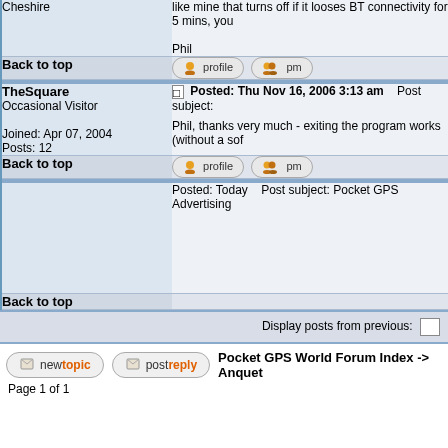| Cheshire | like mine that turns off if it looses BT connectivity for 5 mins, you

Phil |
| Back to top | [profile] [pm] |
| TheSquare
Occasional Visitor

Joined: Apr 07, 2004
Posts: 12 | Posted: Thu Nov 16, 2006 3:13 am    Post subject:

Phil, thanks very much - exiting the program works (without a sof |
| Back to top | [profile] [pm] |
|  | Posted: Today    Post subject: Pocket GPS Advertising |
| Back to top |  |
|  | Display posts from previous: |
Pocket GPS World Forum Index -> Anquet
Page 1 of 1